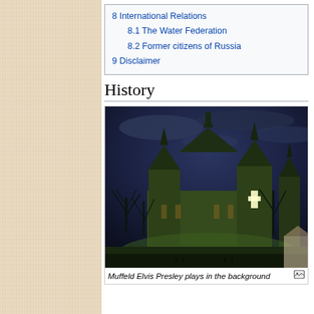8 International Relations
8.1 The Water Federation
8.2 Former citizens of Russia
9 Disclaimer
History
[Figure (photo): Gothic church photographed at night with dramatic dark blue sky, illuminated green-yellow walls, multiple pointed spires, bare trees, and a lit cross visible in a tower window.]
Muffeld Elvis Presley plays in the background